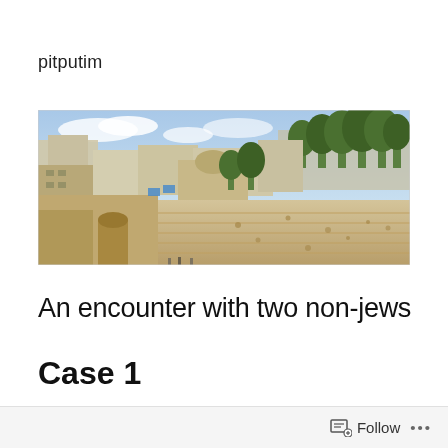pitputim
[Figure (photo): Panoramic photograph of Jerusalem showing the Western Wall plaza area with ancient stone walls in the foreground and buildings with trees on the hillside in the background under a partly cloudy sky.]
An encounter with two non-jews
Case 1
Follow ...